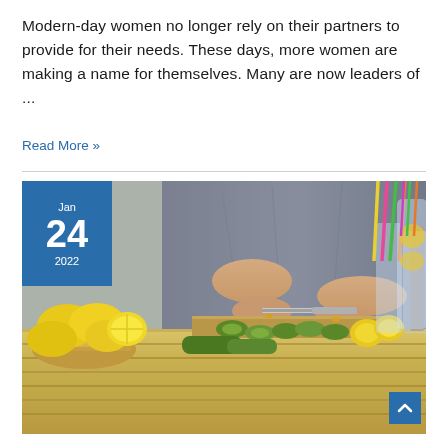Modern-day women no longer rely on their partners to provide for their needs. These days, more women are making a name for themselves. Many are now leaders of ...
Read More »
[Figure (photo): A woman in a grey t-shirt chopping cucumbers on a cutting board on a wooden table, with lemons and glasses with colorful straws nearby. A blue date badge shows Jan 24 2022 in the upper left corner. A blue back-to-top button is in the lower right corner.]